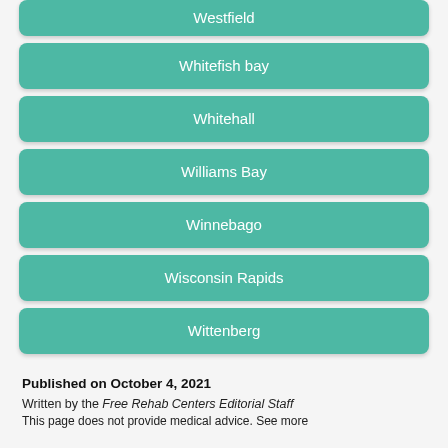Westfield
Whitefish bay
Whitehall
Williams Bay
Winnebago
Wisconsin Rapids
Wittenberg
Published on October 4, 2021
Written by the Free Rehab Centers Editorial Staff
This page does not provide medical advice. See more